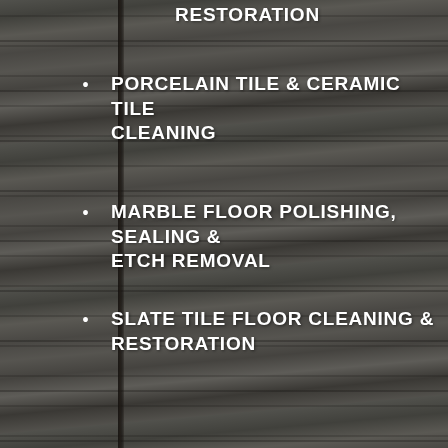RESTORATION
PORCELAIN TILE & CERAMIC TILE CLEANING
MARBLE FLOOR POLISHING, SEALING & ETCH REMOVAL
SLATE TILE FLOOR CLEANING & RESTORATION
LIMESTONE FLOOR CLEANING & POLISHING
GRANITE COUNTERTOP POLISHING & SEALING
TRAVERTINE TILE CLEANING & SEALING